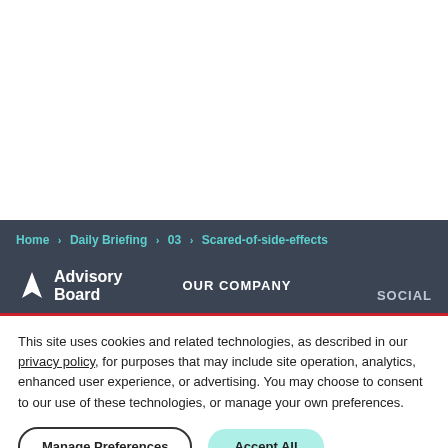Home > Daily Briefing > 03 > Scared-of-side-effects
[Figure (logo): Advisory Board logo with navigation bar showing OUR COMPANY and SOCIAL links]
This site uses cookies and related technologies, as described in our privacy policy, for purposes that may include site operation, analytics, enhanced user experience, or advertising. You may choose to consent to our use of these technologies, or manage your own preferences.
Manage Preferences | Accept All